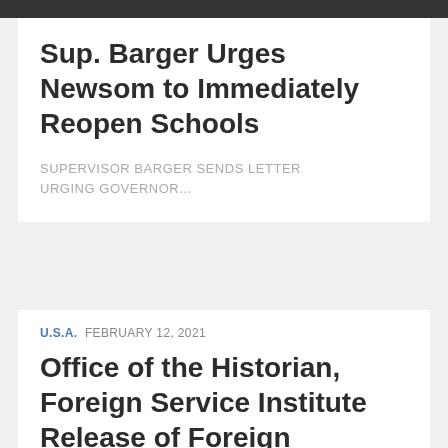Sup. Barger Urges Newsom to Immediately Reopen Schools
SUPERVISOR BARGER SENDS LETTER URGING GOVERNOR...
U.S.A. FEBRUARY 12, 2021
Office of the Historian, Foreign Service Institute Release of Foreign Relations of the United States, 1969–